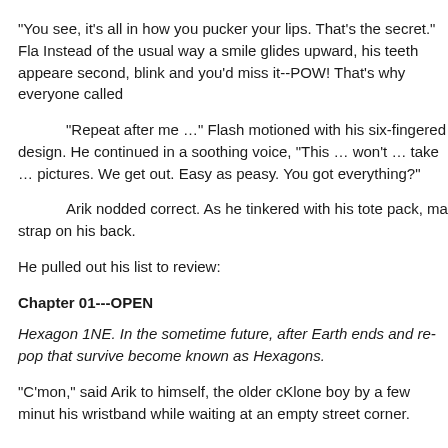“You see, it’s all in how you pucker your lips. That’s the secret.” Fla Instead of the usual way a smile glides upward, his teeth appeare second, blink and you’d miss it--POW! That’s why everyone called
“Repeat after me …” Flash motioned with his six-fingered design. He continued in a soothing voice, “This … won’t … take … pictures. We get out. Easy as peasy. You got everything?”
Arik nodded correct. As he tinkered with his tote pack, ma strap on his back.
He pulled out his list to review:
Chapter 01---OPEN
Hexagon 1NE. In the sometime future, after Earth ends and re-pop that survive become known as Hexagons.
“C’mon,” said Arik to himself, the older cKlone boy by a few minut his wristband while waiting at an empty street corner.